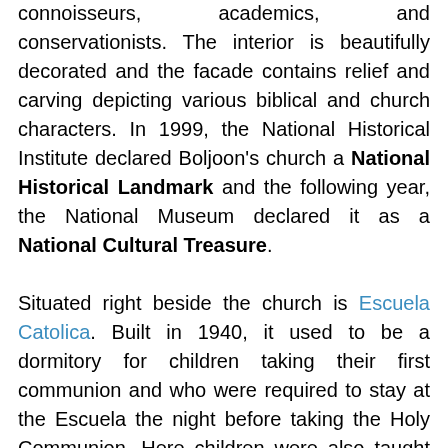olden times, attracts sightseers, religious art connoisseurs, academics, and conservationists. The interior is beautifully decorated and the facade contains relief and carving depicting various biblical and church characters. In 1999, the National Historical Institute declared Boljoon's church a National Historical Landmark and the following year, the National Museum declared it as a National Cultural Treasure.
Situated right beside the church is Escuela Catolica. Built in 1940, it used to be a dormitory for children taking their first communion and who were required to stay at the Escuela the night before taking the Holy Communion. Here children were also taught how to read and write using the cartilla.
One of the most popular landmarks in Boljoon is the Ili Rock in Ilihan. It is a natural rock formation at the edge of the